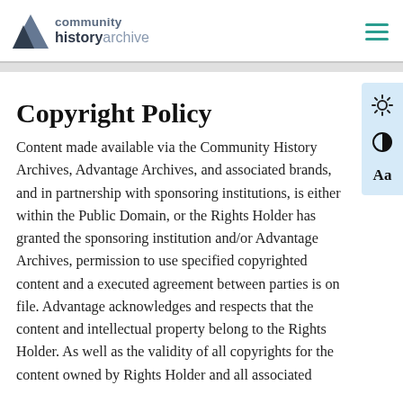community history archive
Copyright Policy
Content made available via the Community History Archives, Advantage Archives, and associated brands, and in partnership with sponsoring institutions, is either within the Public Domain, or the Rights Holder has granted the sponsoring institution and/or Advantage Archives, permission to use specified copyrighted content and a executed agreement between parties is on file. Advantage acknowledges and respects that the content and intellectual property belong to the Rights Holder. As well as the validity of all copyrights for the content owned by Rights Holder and all associated